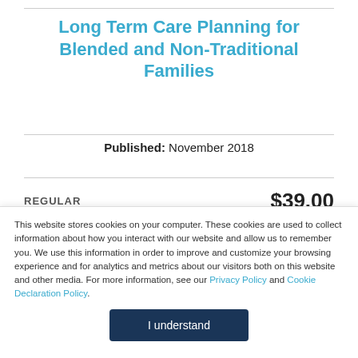Long Term Care Planning for Blended and Non-Traditional Families
Published: November 2018
REGULAR  $39.00
This website stores cookies on your computer. These cookies are used to collect information about how you interact with our website and allow us to remember you. We use this information in order to improve and customize your browsing experience and for analytics and metrics about our visitors both on this website and other media. For more information, see our Privacy Policy and Cookie Declaration Policy.
I understand